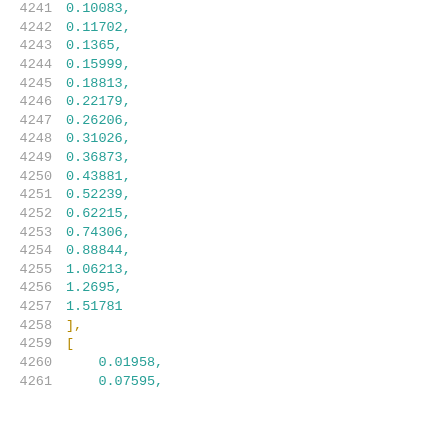4241    0.10083,
4242    0.11702,
4243    0.1365,
4244    0.15999,
4245    0.18813,
4246    0.22179,
4247    0.26206,
4248    0.31026,
4249    0.36873,
4250    0.43881,
4251    0.52239,
4252    0.62215,
4253    0.74306,
4254    0.88844,
4255    1.06213,
4256    1.2695,
4257    1.51781
4258    ],
4259    [
4260    0.01958,
4261    0.07595,